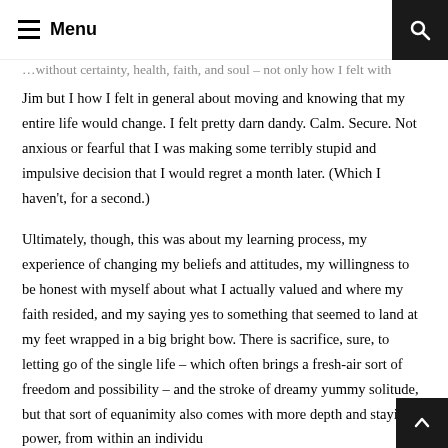Menu
Jim but I how I felt in general about moving and knowing that my entire life would change. I felt pretty darn dandy. Calm. Secure. Not anxious or fearful that I was making some terribly stupid and impulsive decision that I would regret a month later. (Which I haven't, for a second.)
Ultimately, though, this was about my learning process, my experience of changing my beliefs and attitudes, my willingness to be honest with myself about what I actually valued and where my faith resided, and my saying yes to something that seemed to land at my feet wrapped in a big bright bow. There is sacrifice, sure, to letting go of the single life – which often brings a fresh-air sort of freedom and possibility – and the stroke of dreamy yummy solitude, but that sort of equanimity also comes with more depth and staying power, from within an individu